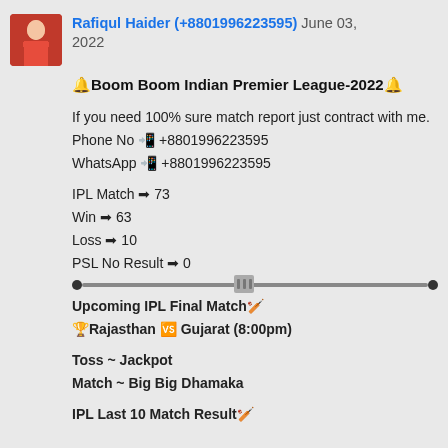Rafiqul Haider (+8801996223595) June 03, 2022
🔔Boom Boom Indian Premier League-2022🔔
If you need 100% sure match report just contract with me.
Phone No 📲 +8801996223595
WhatsApp 📲 +8801996223595
IPL Match ➡ 73
Win ➡ 63
Loss ➡ 10
PSL No Result ➡ 0
[Figure (other): A slider/progress bar UI element with dots on each end and a handle in the middle]
Upcoming IPL Final Match🏏
🏆Rajasthan 🆚 Gujarat (8:00pm)
Toss ~ Jackpot
Match ~ Big Big Dhamaka
IPL Last 10 Match Result🏏